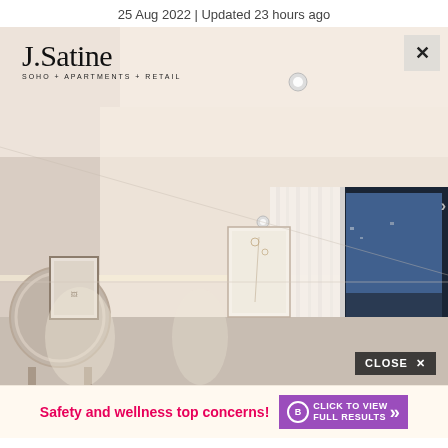25 Aug 2022 | Updated 23 hours ago
[Figure (photo): Interior room photo showing a modern apartment bedroom/living space with cream-colored walls, recessed ceiling lights, sheer white curtains, a large black-framed window, circular mirror, and wall art. J.Satine SOHO + APARTMENTS + RETAIL logo overlaid top-left. X close button top-right. CLOSE × button bottom-right.]
Safety and wellness top concerns! CLICK TO VIEW FULL RESULTS